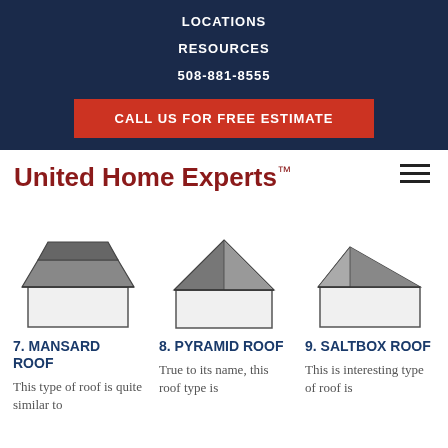LOCATIONS
RESOURCES
508-881-8555
CALL US FOR FREE ESTIMATE
United Home Experts™
[Figure (illustration): Illustration of a Mansard roof on a house]
7. MANSARD ROOF
This type of roof is quite similar to
[Figure (illustration): Illustration of a Pyramid roof on a house]
8. PYRAMID ROOF
True to its name, this roof type is
[Figure (illustration): Illustration of a Saltbox roof on a house]
9. SALTBOX ROOF
This is interesting type of roof is